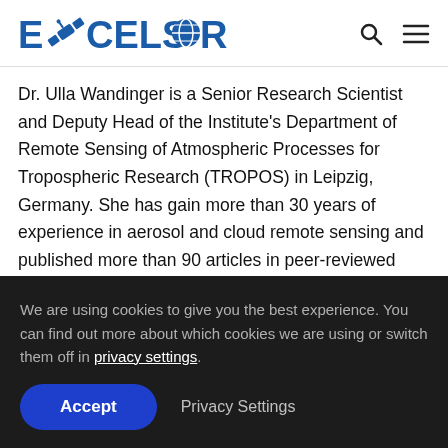EXCELSIOR
Dr. Ulla Wandinger is a Senior Research Scientist and Deputy Head of the Institute’s Department of Remote Sensing of Atmospheric Processes for Tropospheric Research (TROPOS) in Leipzig, Germany. She has gain more than 30 years of experience in aerosol and cloud remote sensing and published more than 90 articles in peer-reviewed journals. Over the last decade, she has been strongly
We are using cookies to give you the best experience. You can find out more about which cookies we are using or switch them off in privacy settings.
Accept | Privacy Settings